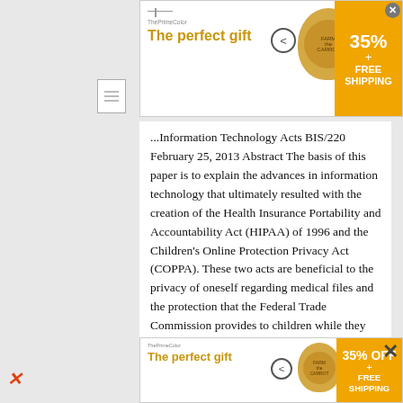[Figure (other): Top advertisement banner: 'The perfect gift' with pot image, navigation arrows, and 35% FREE SHIPPING badge]
[Figure (other): Document/file icon on left sidebar]
...Information Technology Acts BIS/220 February 25, 2013 Abstract The basis of this paper is to explain the advances in information technology that ultimately resulted with the creation of the Health Insurance Portability and Accountability Act (HIPAA) of 1996 and the Children's Online Protection Privacy Act (COPPA). These two acts are beneficial to the privacy of oneself regarding medical files and the protection that the Federal Trade Commission provides to children while they are using the Internet. The paper will go farther into detail about why these acts were created and how they are beneficial to society today and for our future. Information Technology Acts The many advances of information technology have resulted in this big essay crisis in the creation of
[Figure (other): Bottom advertisement banner: 'The perfect gift' with pot image, navigation arrows, and 35% OFF FREE SHIPPING badge]